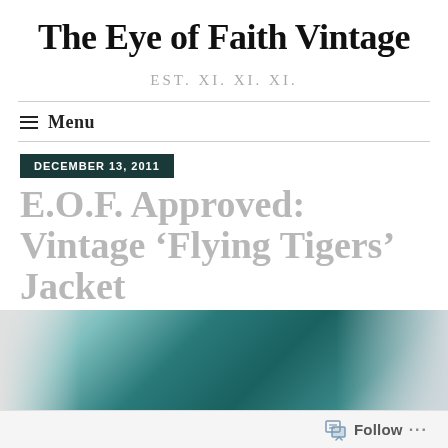The Eye of Faith Vintage
EST. XI. XI. XI.
Menu
DECEMBER 13, 2011
E.O.F. Approved: Vintage ‘Flying Tigers’ Jacket
[Figure (photo): Partial view of a vintage Flying Tigers jacket in teal/green color]
Follow ...